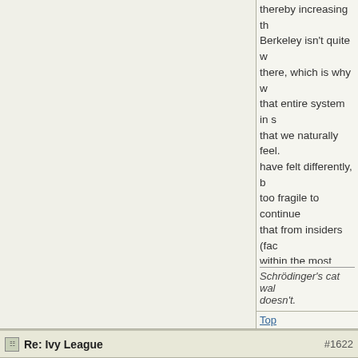thereby increasing t... Berkeley isn't quite w... there, which is why w... that entire system in s... that we naturally feel.... have felt differently, b... too fragile to continue... that from insiders (fac... within the most presti... - they are advising the... elsewhere, basically.... within the past 24 mo... disturbing change.

Our state has frozen t... temporarily, too. But e... is merely a band-aid.... bubble is fraying arou... don't think that anyon... where those particula... wind up.
Schrödinger's cat wal... doesn't.
Top
Re: Ivy League #1622